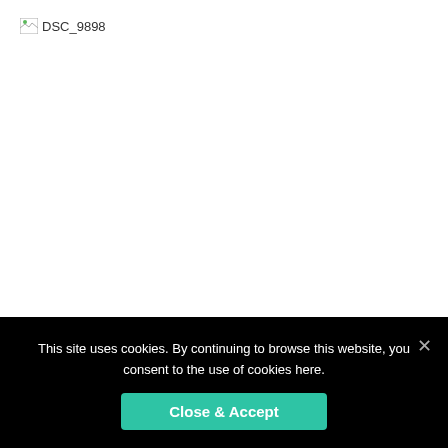[Figure (photo): Broken image placeholder labeled DSC_9898]
[Figure (photo): Broken image placeholder labeled DSC_9899]
This site uses cookies. By continuing to browse this website, you consent to the use of cookies here.
Close & Accept